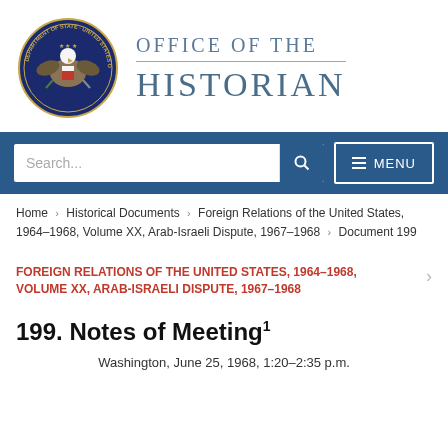[Figure (logo): US Department of State seal and Office of the Historian logo]
Search... MENU
Home › Historical Documents › Foreign Relations of the United States, 1964–1968, Volume XX, Arab-Israeli Dispute, 1967–1968 › Document 199
FOREIGN RELATIONS OF THE UNITED STATES, 1964–1968, VOLUME XX, ARAB-ISRAELI DISPUTE, 1967–1968
199. Notes of Meeting¹
Washington, June 25, 1968, 1:20–2:35 p.m.